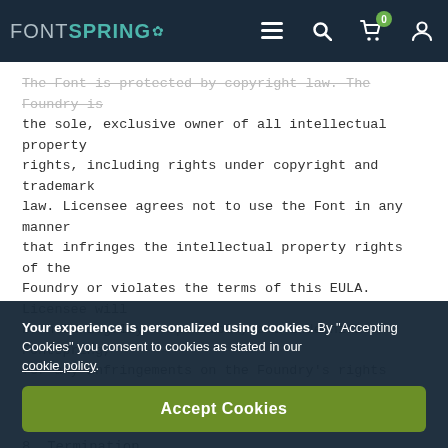FONTSPRING [navigation bar with menu, search, cart (0), account icons]
The Font is protected by copyright law. The Foundry is the sole, exclusive owner of all intellectual property rights, including rights under copyright and trademark law. Licensee agrees not to use the Font in any manner that infringes the intellectual property rights of the Foundry or violates the terms of this EULA. Licensee will be held legally responsible, and indemnifies Fontspring, for any infringements on the Foundry's rights caused by failure to abide by the terms of this EULA.
8. Termination
This EULA is effective until terminated. If Licensee fails
Your experience is personalized using cookies. By “Accepting Cookies” you consent to cookies as stated in our cookie policy.
Accept Cookies